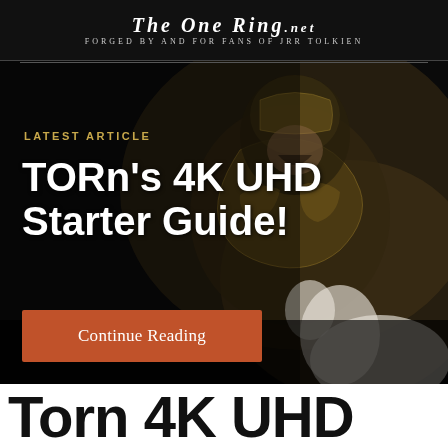The One Ring.net — FORGED BY AND FOR FANS OF JRR TOLKIEN
[Figure (photo): Dark background photo of a warrior in ornate armor (Rohirrim or similar Tolkien-inspired), partially visible, with armor details in gold and dark tones. A white horse is partially visible at the lower right.]
LATEST ARTICLE
TORn's 4K UHD Starter Guide!
Continue Reading
Torn 4K UHD (partial, bottom peek)